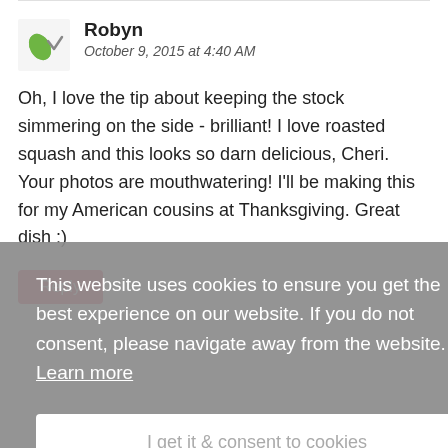Robyn
October 9, 2015 at 4:40 AM
Oh, I love the tip about keeping the stock simmering on the side - brilliant! I love roasted squash and this looks so darn delicious, Cheri. Your photos are mouthwatering! I'll be making this for my American cousins at Thanksgiving. Great dish :)
Reply
This website uses cookies to ensure you get the best experience on our website. If you do not consent, please navigate away from the website.  Learn more
I get it & consent to cookies